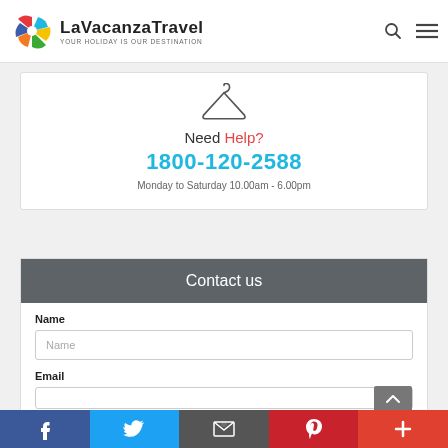[Figure (logo): LaVacanzaTravel logo with colorful pinwheel icon and text 'LaVacanzaTravel - YOUR HOLIDAY IS OUR DESTINATION']
[Figure (illustration): Hanger/coat-hanger icon in outline style]
Need Help?
1800-120-2588
Monday to Saturday 10.00am - 6.00pm
Contact us
Name
Name
Email